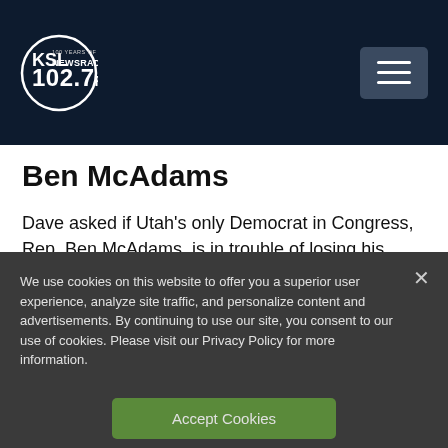KSL NewsRadio 102.7FM
Ben McAdams
Dave asked if Utah's only Democrat in Congress, Rep. Ben McAdams, is in trouble of losing his seat.
We use cookies on this website to offer you a superior user experience, analyze site traffic, and personalize content and advertisements. By continuing to use our site, you consent to our use of cookies. Please visit our Privacy Policy for more information.
Accept Cookies